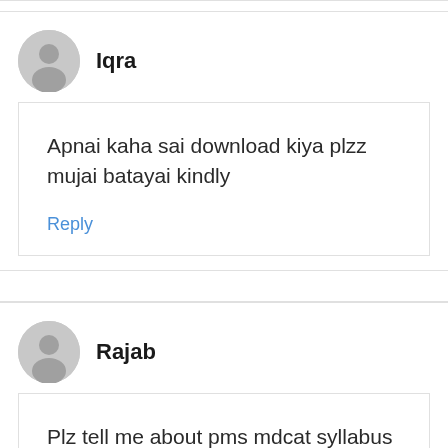Iqra
Apnai kaha sai download kiya plzz mujai batayai kindly
Reply
Rajab
Plz tell me about pms mdcat syllabus